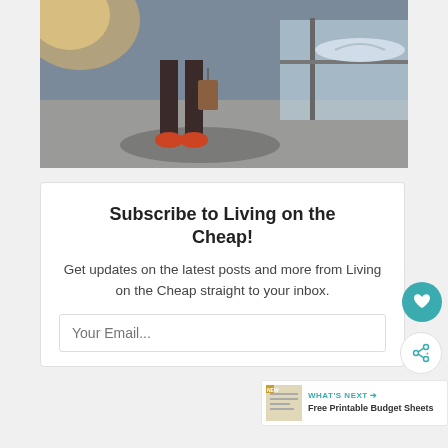[Figure (photo): Person walking in an airport terminal with rolling luggage, airplane visible through large glass window in the background, warm sunlight]
Subscribe to Living on the Cheap!
Get updates on the latest posts and more from Living on the Cheap straight to your inbox.